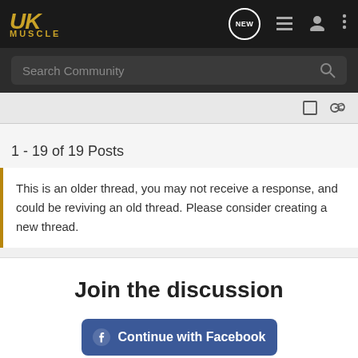UK MUSCLE — Navigation bar with logo, NEW, list, user, and menu icons
Search Community
1 - 19 of 19 Posts
This is an older thread, you may not receive a response, and could be reviving an old thread. Please consider creating a new thread.
Join the discussion
Continue with Facebook
BitLife - Life Simulator
Install!